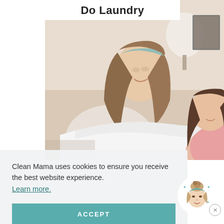Do Laundry
[Figure (photo): A woman and a young girl doing laundry together, folding white sheets. The woman has long brown hair and wears a white outfit; the girl has long dark hair and wears a pink sweater.]
Clean Mama uses cookies to ensure you receive the best website experience. Learn more.
ACCEPT
[Figure (logo): Clean Mama logo: illustration of a woman's face with a bun hairstyle and teal headband, surrounded by sparkle/star decorations, in a circular frame.]
×
So all the cats to at